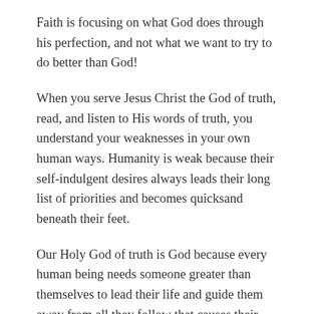Faith is focusing on what God does through his perfection, and not what we want to try to do better than God!
When you serve Jesus Christ the God of truth, read, and listen to His words of truth, you understand your weaknesses in your own human ways. Humanity is weak because their self-indulgent desires always leads their long list of priorities and becomes quicksand beneath their feet.
Our Holy God of truth is God because every human being needs someone greater than themselves to lead their life and guide them away from all they follow that causes their moral decay.
Every belief must be grounded for what they trust on the...